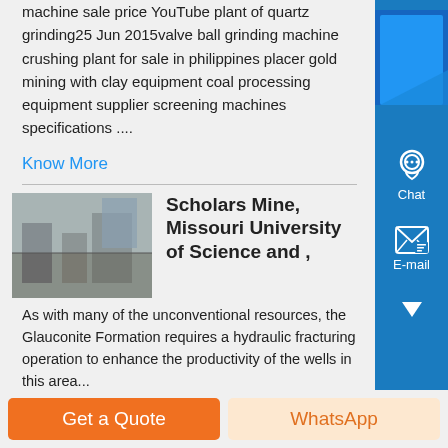machine sale price YouTube plant of quartz grinding25 Jun 2015valve ball grinding machine crushing plant for sale in philippines placer gold mining with clay equipment coal processing equipment supplier screening machines specifications ....
Know More
[Figure (photo): Industrial plant interior photo thumbnail]
Scholars Mine, Missouri University of Science and ,
As with many of the unconventional resources, the Glauconite Formation requires a hydraulic fracturing operation to enhance the productivity of the wells in this area...
Know More
Get a Quote
WhatsApp